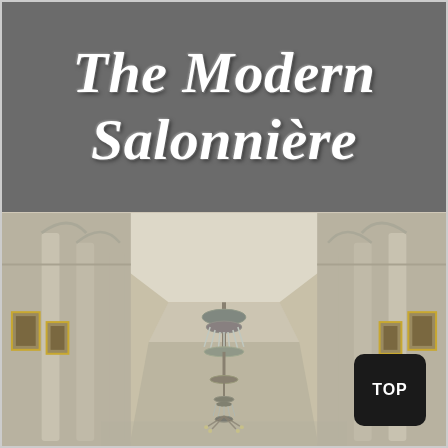The Modern Salonnière
[Figure (photo): Interior photograph of an ornate classical hall or gallery with arched ceilings, white columns, gilded frames on walls, and crystal chandeliers hanging from the ceiling. The image is in black and white / desaturated tones.]